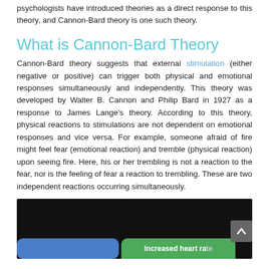psychologists have introduced theories as a direct response to this theory, and Cannon-Bard theory is one such theory.
What is Cannon-Bard Theory
Cannon-Bard theory suggests that external stimulation (either negative or positive) can trigger both physical and emotional responses simultaneously and independently. This theory was developed by Walter B. Cannon and Philip Bard in 1927 as a response to James Lange's theory. According to this theory, physical reactions to stimulations are not dependent on emotional responses and vice versa. For example, someone afraid of fire might feel fear (emotional reaction) and tremble (physical reaction) upon seeing fire. Here, his or her trembling is not a reaction to the fear, nor is the feeling of fear a reaction to trembling. These are two independent reactions occurring simultaneously.
[Figure (screenshot): Dark background image showing two buttons: a blue rounded button and a green button labeled 'Increased heart rate' with an arrow/navigation button on the right.]